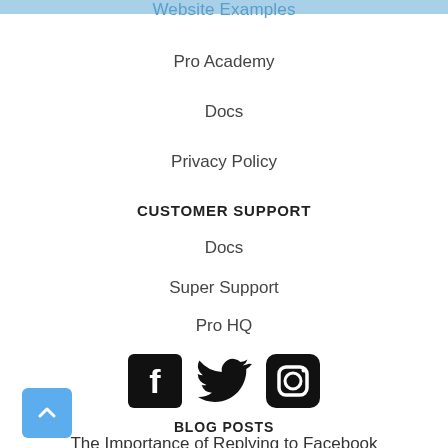Website Examples
Pro Academy
Docs
Privacy Policy
CUSTOMER SUPPORT
Docs
Super Support
Pro HQ
[Figure (illustration): Social media icons: Facebook (f in black square), Twitter (bird in black), Instagram (camera in black square)]
BLOG POSTS
The Importance of Replying to Facebook